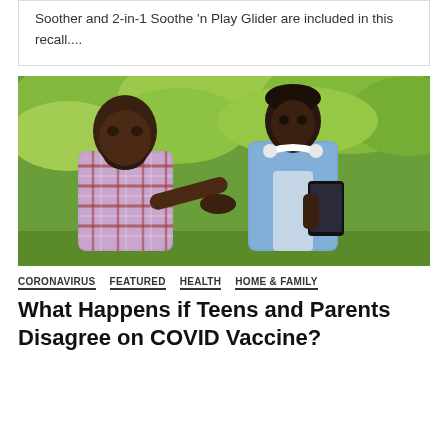Soother and 2-in-1 Soothe 'n Play Glider are included in this recall....
[Figure (photo): A Black man in a plaid shirt gestures with his hand toward a teenage boy in a light blue denim shirt who holds a smartphone and wears white headphones around his neck. They are outdoors with green trees in the background.]
CORONAVIRUS   FEATURED   HEALTH   HOME & FAMILY
What Happens if Teens and Parents Disagree on COVID Vaccine?